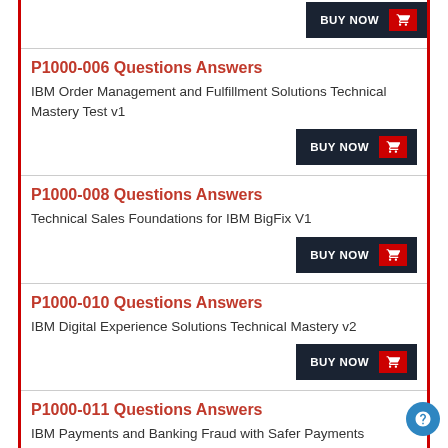P1000-006 Questions Answers
IBM Order Management and Fulfillment Solutions Technical Mastery Test v1
P1000-008 Questions Answers
Technical Sales Foundations for IBM BigFix V1
P1000-010 Questions Answers
IBM Digital Experience Solutions Technical Mastery v2
P1000-011 Questions Answers
IBM Payments and Banking Fraud with Safer Payments Technical Sales Mastery Test v1